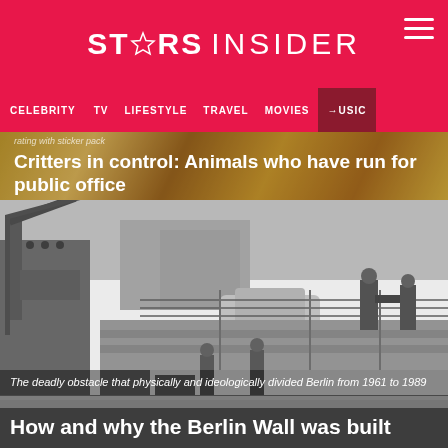STARS INSIDER
CELEBRITY  TV  LIFESTYLE  TRAVEL  MOVIES  →MUSIC
rating with sticker pack
Critters in control: Animals who have run for public office
[Figure (photo): Black and white historical photograph showing the construction of the Berlin Wall, with cranes, soldiers, concrete blocks, barbed wire fencing, and a car visible in the scene.]
The deadly obstacle that physically and ideologically divided Berlin from 1961 to 1989
How and why the Berlin Wall was built